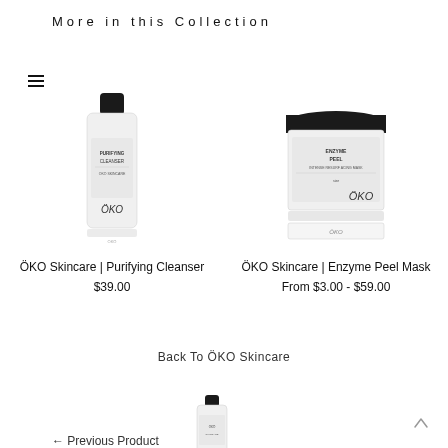More in this Collection
[Figure (photo): ÖKO Skincare Purifying Cleanser bottle with black cap, white label with ÖKO branding]
ÖKO Skincare | Purifying Cleanser
$39.00
[Figure (photo): ÖKO Skincare Enzyme Peel Mask jar with black lid, white label with ÖKO branding]
ÖKO Skincare | Enzyme Peel Mask
From $3.00 - $59.00
Back To ÖKO Skincare
← Previous Product
[Figure (photo): Small ÖKO Skincare bottle with black cap, white label]